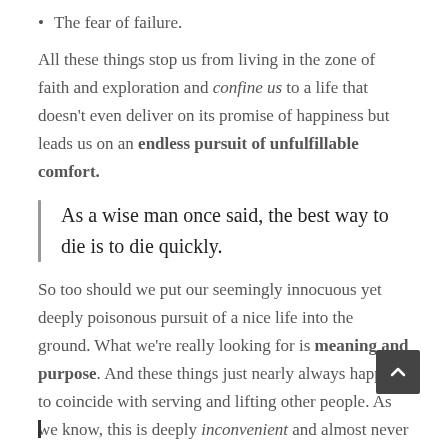The fear of failure.
All these things stop us from living in the zone of faith and exploration and confine us to a life that doesn't even deliver on its promise of happiness but leads us on an endless pursuit of unfulfillable comfort.
As a wise man once said, the best way to die is to die quickly.
So too should we put our seemingly innocuous yet deeply poisonous pursuit of a nice life into the ground. What we're really looking for is meaning and purpose. And these things just nearly always happen to coincide with serving and lifting other people. As we know, this is deeply inconvenient and almost never easy to do.